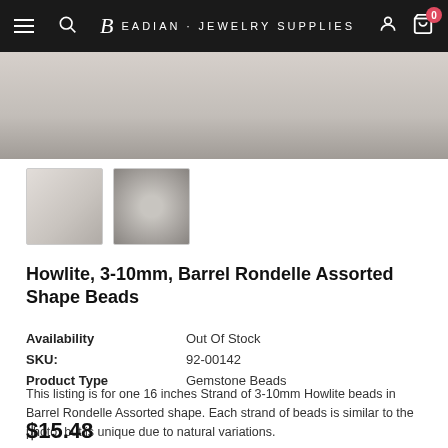Beadian · Jewelry Supplies
[Figure (photo): Close-up hero photo of white howlite barrel rondelle beads]
[Figure (photo): Thumbnail 1: white howlite beads close-up]
[Figure (photo): Thumbnail 2: strand of howlite beads in circular shape]
Howlite, 3-10mm, Barrel Rondelle Assorted Shape Beads
| Field | Value |
| --- | --- |
| Availability | Out Of Stock |
| SKU: | 92-00142 |
| Product Type | Gemstone Beads |
This listing is for one 16 inches Strand of 3-10mm Howlite beads in Barrel Rondelle Assorted shape. Each strand of beads is similar to the photo, but is unique due to natural variations.
$15.48